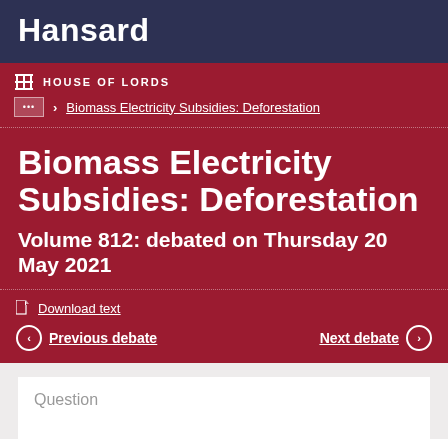Hansard
HOUSE OF LORDS
Biomass Electricity Subsidies: Deforestation
Biomass Electricity Subsidies: Deforestation
Volume 812: debated on Thursday 20 May 2021
Download text
Previous debate
Next debate
Question